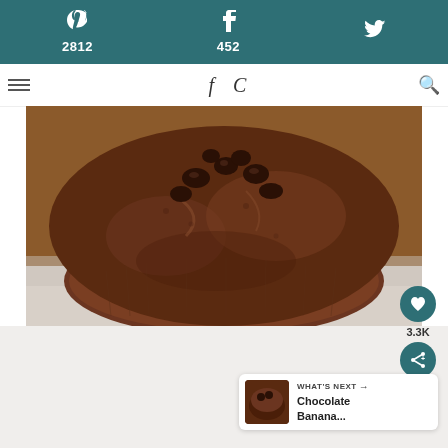Pinterest 2812 | Facebook 452 | Twitter
[Figure (photo): Close-up photo of a chocolate muffin/cupcake with chocolate chips on top, sitting on a white marble surface. The muffin is dark brown with a cracked top and visible chocolate chips.]
3.3K
WHAT'S NEXT → Chocolate Banana...